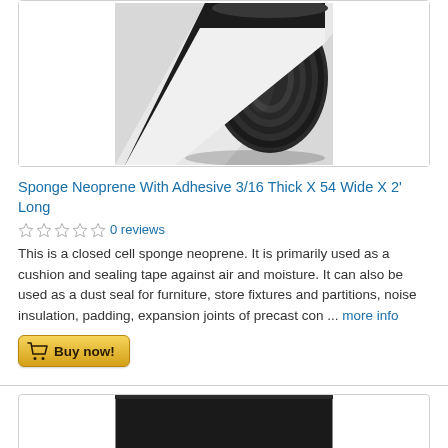[Figure (photo): A roll of black sponge neoprene material with adhesive backing, partially unrolled, showing the layered texture and dark surface.]
Sponge Neoprene With Adhesive 3/16 Thick X 54 Wide X 2' Long
0 reviews
This is a closed cell sponge neoprene. It is primarily used as a cushion and sealing tape against air and moisture. It can also be used as a dust seal for furniture, store fixtures and partitions, noise insulation, padding, expansion joints of precast con ... more info
[Figure (photo): A flat sheet of dark black neoprene material, showing the texture of the surface.]